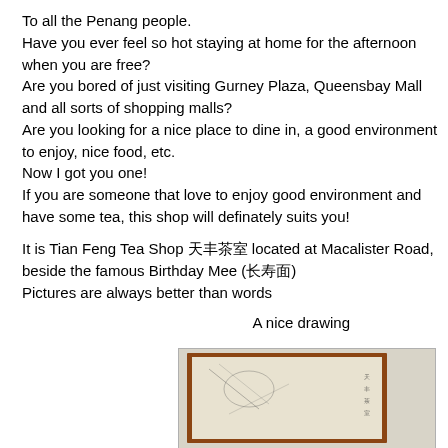To all the Penang people.
Have you ever feel so hot staying at home for the afternoon when you are free?
Are you bored of just visiting Gurney Plaza, Queensbay Mall and all sorts of shopping malls?
Are you looking for a nice place to dine in, a good environment to enjoy, nice food, etc.
Now I got you one!
If you are someone that love to enjoy good environment and have some tea, this shop will definately suits you!
It is Tian Feng Tea Shop 天丰茶室 located at Macalister Road, beside the famous Birthday Mee (长寿面)
Pictures are always better than words
A nice drawing
[Figure (photo): A framed traditional Chinese ink drawing or calligraphy artwork, photographed at an angle showing the wooden frame with red/brown border.]